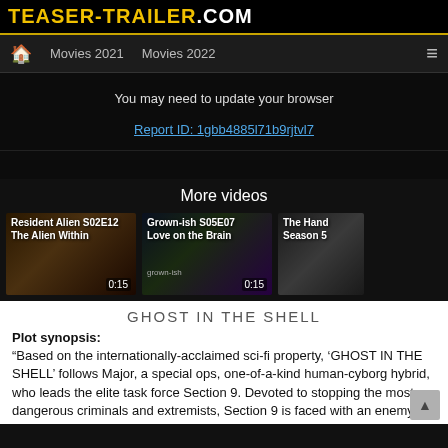TEASER-TRAILER.COM
Movies 2021  Movies 2022
You may need to update your browser
Report ID: 1gbb4885l71b9rjtvl7
More videos
[Figure (screenshot): Video thumbnail: Resident Alien S02E12 The Alien Within, duration 0:15]
[Figure (screenshot): Video thumbnail: Grown-ish S05E07 Love on the Brain, duration 0:15]
[Figure (screenshot): Video thumbnail: The Hand Season 5]
GHOST IN THE SHELL
Plot synopsis:
“Based on the internationally-acclaimed sci-fi property, ‘GHOST IN THE SHELL’ follows Major, a special ops, one-of-a-kind human-cyborg hybrid, who leads the elite task force Section 9. Devoted to stopping the most dangerous criminals and extremists, Section 9 is faced with an enemy